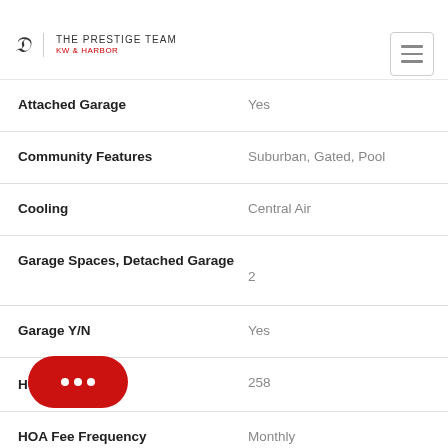[Figure (logo): The Prestige Team KW & Harbor real estate logo with swirl icon]
| Property Feature | Value |
| --- | --- |
| Attached Garage | Yes |
| Community Features | Suburban, Gated, Pool |
| Cooling | Central Air |
| Garage Spaces, Detached Garage | 2 |
| Garage Y/N | Yes |
| HOA F | 258 |
| HOA Fee Frequency | Monthly |